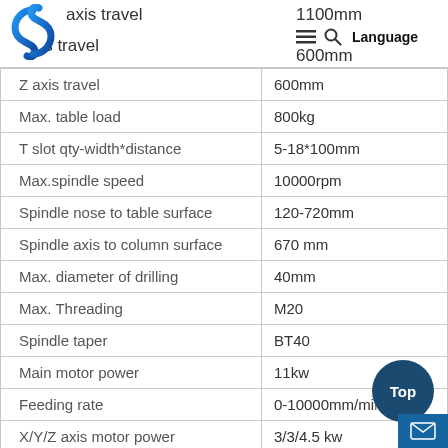[Figure (logo): Blue spiral 'S' logo in the top-left corner, partially overlapping the header row]
Y axis travel 1100mm | (menu icon) (search icon) Language | Y axis travel 600mm
| Parameter | Value |
| --- | --- |
| Z axis travel | 600mm |
| Max. table load | 800kg |
| T slot qty-width*distance | 5-18*100mm |
| Max.spindle speed | 10000rpm |
| Spindle nose to table surface | 120-720mm |
| Spindle axis to column surface | 670 mm |
| Max. diameter of drilling | 40mm |
| Max. Threading | M20 |
| Spindle taper | BT40 |
| Main motor power | 11kw |
| Feeding rate | 0-10000mm/min |
| X/Y/Z axis motor power | 3/3/4.5 kw |
| X/Y/Z axis rapid feed | 36/36/32 m/min |